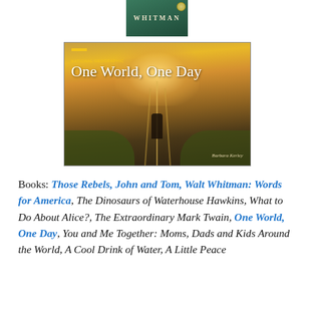[Figure (photo): Top portion of a book cover showing 'WHITMAN' text on a dark green background]
[Figure (photo): Book cover for 'One World, One Day' by Barbara Kerley, National Geographic. Shows a child walking along railroad tracks toward a bright sunset, surrounded by golden grassy fields.]
Books: Those Rebels, John and Tom, Walt Whitman: Words for America, The Dinosaurs of Waterhouse Hawkins, What to Do About Alice?, The Extraordinary Mark Twain, One World, One Day, You and Me Together: Moms, Dads and Kids Around the World, A Cool Drink of Water, A Little Peace